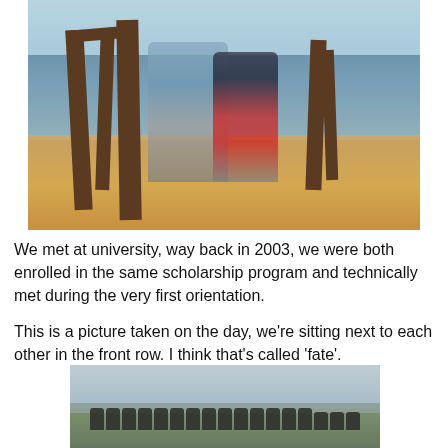[Figure (photo): A couple standing on a beach near old wooden pier posts, with ocean waves and sandy shore visible. The man wears a light blue t-shirt and plaid shorts; the woman wears a dark top and red shorts. Both wear sunglasses.]
We met at university, way back in 2003, we were both enrolled in the same scholarship program and technically met during the very first orientation.
This is a picture taken on the day, we're sitting next to each other in the front row. I think that's called 'fate'.
[Figure (photo): A group photo of students standing outdoors with an overcast sky behind them. The group appears to be a scholarship cohort.]